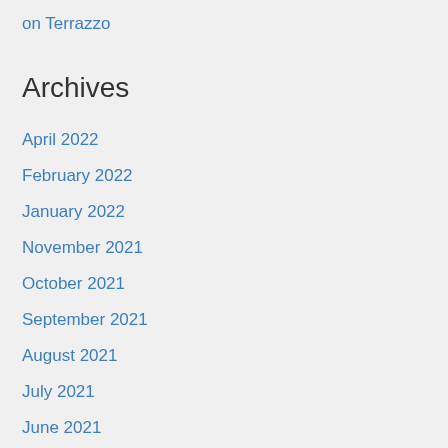on Terrazzo
Archives
April 2022
February 2022
January 2022
November 2021
October 2021
September 2021
August 2021
July 2021
June 2021
May 2021
April 2021